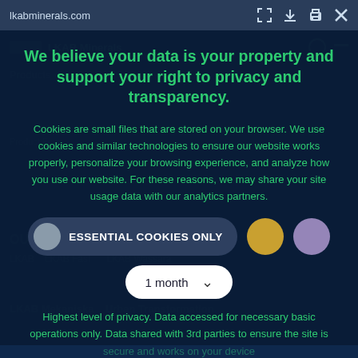lkabminerals.com
We believe your data is your property and support your right to privacy and transparency.
Cookies are small files that are stored on your browser. We use cookies and similar technologies to ensure our website works properly, personalize your browsing experience, and analyze how you use our website. For these reasons, we may share your site usage data with our analytics partners.
ESSENTIAL COOKIES ONLY
1 month
Highest level of privacy. Data accessed for necessary basic operations only. Data shared with 3rd parties to ensure the site is secure and works on your device